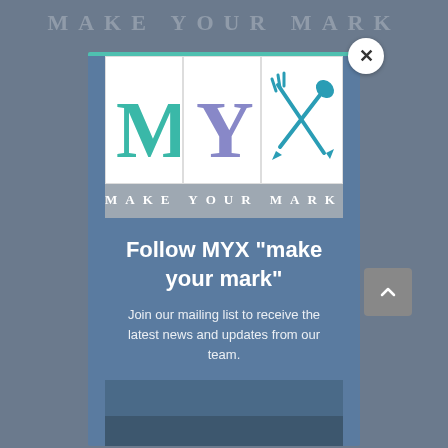[Figure (logo): MYX Make Your Mark logo with three boxes: M in teal, Y in purple/lavender, and crossed spoon and fork/arrow icon in teal, with MAKE YOUR MARK tagline below on grey background]
Follow MYX "make your mark"
Join our mailing list to receive the latest news and updates from our team.